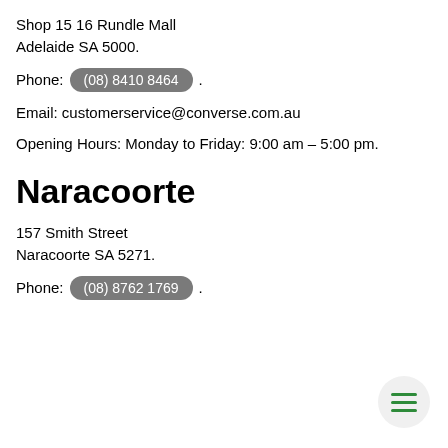Shop 15 16 Rundle Mall
Adelaide SA 5000.
Phone: (08) 8410 8464.
Email: customerservice@converse.com.au
Opening Hours: Monday to Friday: 9:00 am – 5:00 pm.
Naracoorte
157 Smith Street
Naracoorte SA 5271.
Phone: (08) 8762 1769.